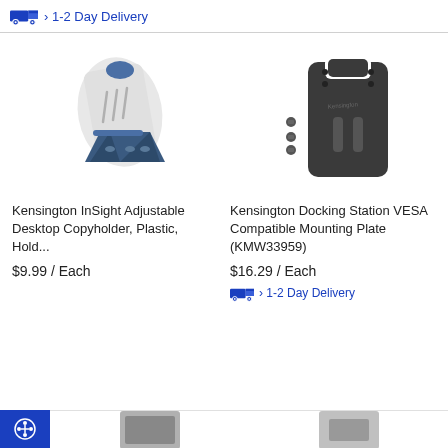› 1-2 Day Delivery
[Figure (photo): Kensington InSight Adjustable Desktop Copyholder product photo - white plastic copyholder with blue base stand]
Kensington InSight Adjustable Desktop Copyholder, Plastic, Hold...
$9.99 / Each
[Figure (photo): Kensington Docking Station VESA Compatible Mounting Plate (KMW33959) - dark grey/black metal plate with slots, with screws]
Kensington Docking Station VESA Compatible Mounting Plate (KMW33959)
$16.29 / Each
› 1-2 Day Delivery